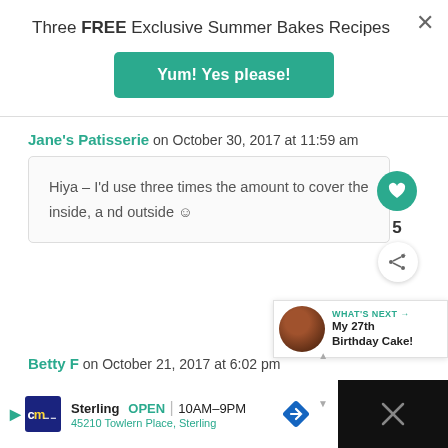Three FREE Exclusive Summer Bakes Recipes
Yum! Yes please!
Jane's Patisserie on October 30, 2017 at 11:59 am
Hiya – I'd use three times the amount to cover the inside, and outside ☺
WHAT'S NEXT → My 27th Birthday Cake!
Betty F on October 21, 2017 at 6:02 pm
Sterling OPEN 10AM–9PM 45210 Towlern Place, Sterling